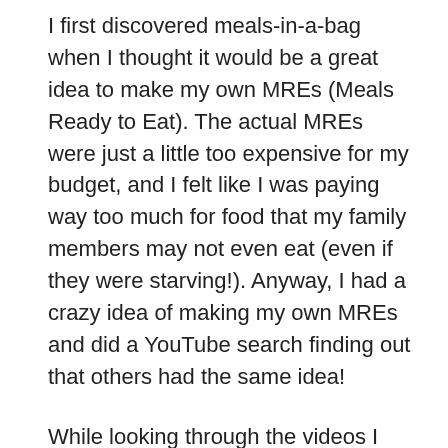I first discovered meals-in-a-bag when I thought it would be a great idea to make my own MREs (Meals Ready to Eat). The actual MREs were just a little too expensive for my budget, and I felt like I was paying way too much for food that my family members may not even eat (even if they were starving!). Anyway, I had a crazy idea of making my own MREs and did a YouTube search finding out that others had the same idea!
While looking through the videos I found that quite a few were using dehydrators to dehydrate their own meals. I thought, what a great way to make meals for my own MREs! So, I found the least expensive that was